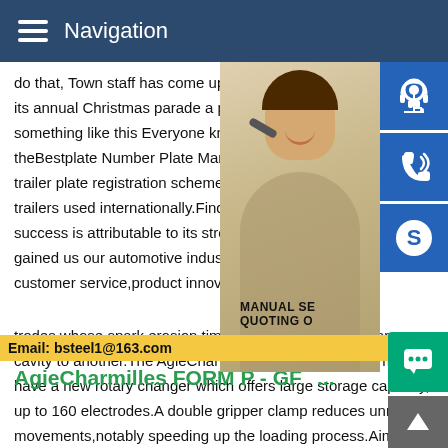Navigation
do that, Town staff has come up with an inc its annual Christmas parade a parade in re something like this Everyone knows a para theBestplate Number Plate Manufacturer N trailer plate registration scheme is a DVLA trailers used internationally.Find out more success is attributable to its strong custom gained us our automotive industry reputati customer service,product innovation and
[Figure (photo): Woman with headset, customer service representative photo]
[Figure (infographic): Three blue icon buttons: headset/support icon, phone/call icon, Skype icon]
MANUAL SE QUOTING O
Email: bsteel1@163.com
AgieCharmilles FORM P - GF...
trodes whose spark erosion time can vary noticeably from one cavity to another.The AgieCharmilles FORM P 350/600 machines have a new rotary changer which offers large storage capacity, up to 160 electrodes.A double gripper clamp reduces unnecessary movements,notably speeding up the loading process.Aim 7,00